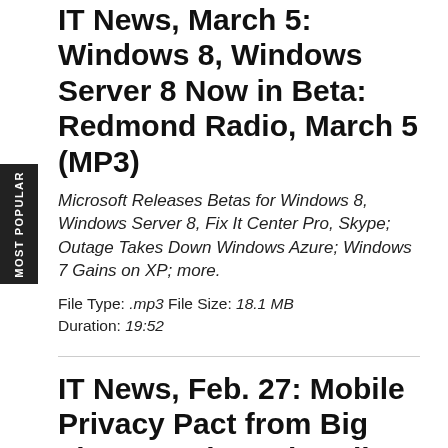IT News, March 5: Windows 8, Windows Server 8 Now in Beta: Redmond Radio, March 5 (MP3)
Microsoft Releases Betas for Windows 8, Windows Server 8, Fix It Center Pro, Skype; Outage Takes Down Windows Azure; Windows 7 Gains on XP; more.
File Type: .mp3 File Size: 18.1 MB Duration: 19:52
IT News, Feb. 27: Mobile Privacy Pact from Big Three: Redmond Radio, Feb. 27 (MP3)
MS, Apple, Google Sign Mobile